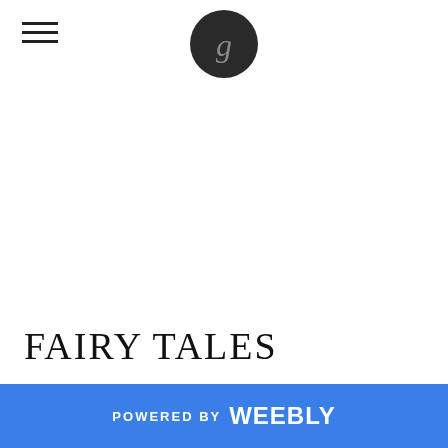[Figure (logo): Dark circular logo with a stylized letter g in the center, positioned at the top center of the page]
FAIRY TALES
POWERED BY weebly